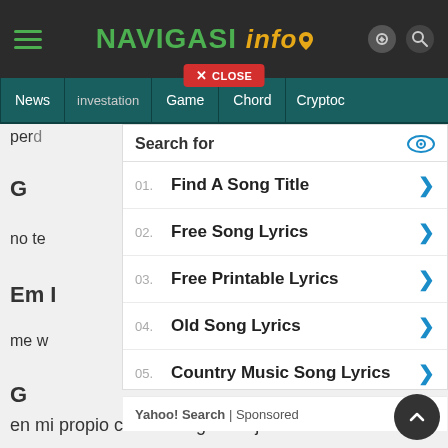[Figure (screenshot): Website header with NAVIGASI info logo in dark bar, hamburger menu left, gear and search icons right]
[Figure (screenshot): Navigation tabs: News, investation, Game, Chord, Cryptoc with red CLOSE button overlay]
[Figure (screenshot): Search overlay popup with items: 01. Find A Song Title, 02. Free Song Lyrics, 03. Free Printable Lyrics, 04. Old Song Lyrics, 05. Country Music Song Lyrics, Yahoo! Search | Sponsored footer]
en mi propio camino seguire lejos de ti..